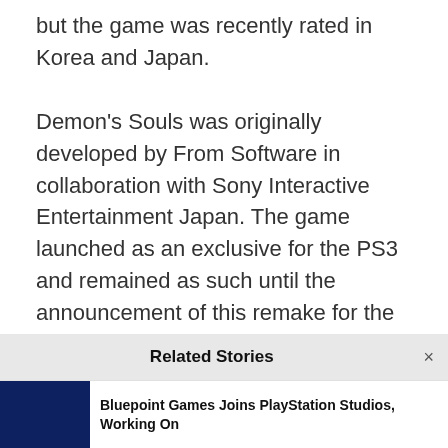but the game was recently rated in Korea and Japan.
Demon's Souls was originally developed by From Software in collaboration with Sony Interactive Entertainment Japan. The game launched as an exclusive for the PS3 and remained as such until the announcement of this remake for the PS5. Sony shared the announcement regarding Demon's Souls remake during the State of Play even that took place in early Summer.
Read More: PS5 Immersion Ad Highlights DualSense Features
Related Stories
Bluepoint Games Joins PlayStation Studios, Working On